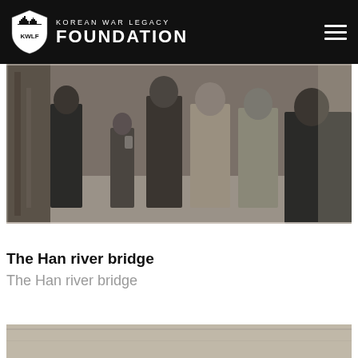Korean War Legacy Foundation
[Figure (photo): Black and white photograph of soldiers and a child standing together, appears to be Korean War era]
The Han river bridge
The Han river bridge
[Figure (photo): Partial black and white photograph at the bottom of the page, cropped]